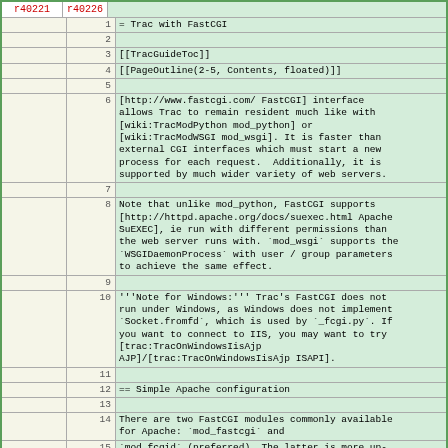| r40221 | r40226 |  |
| --- | --- | --- |
|  | 1 | = Trac with FastCGI |
|  | 2 |  |
|  | 3 | [[TracGuideToc]] |
|  | 4 | [[PageOutline(2-5, Contents, floated)]] |
|  | 5 |  |
|  | 6 | [http://www.fastcgi.com/ FastCGI] interface allows Trac to remain resident much like with [wiki:TracModPython mod_python] or [wiki:TracModWSGI mod_wsgi]. It is faster than external CGI interfaces which must start a new process for each request.  Additionally, it is supported by much wider variety of web servers. |
|  | 7 |  |
|  | 8 | Note that unlike mod_python, FastCGI supports [http://httpd.apache.org/docs/suexec.html Apache SuEXEC], ie run with different permissions than the web server runs with. `mod_wsgi` supports the `WSGIDaemonProcess` with user / group parameters to achieve the same effect. |
|  | 9 |  |
|  | 10 | '''Note for Windows:''' Trac's FastCGI does not run under Windows, as Windows does not implement `Socket.fromfd`, which is used by `_fcgi.py`. If you want to connect to IIS, you may want to try [trac:TracOnWindowsIisAjp AJP]/[trac:TracOnWindowsIisAjp ISAPI]. |
|  | 11 |  |
|  | 12 | == Simple Apache configuration |
|  | 13 |  |
|  | 14 | There are two FastCGI modules commonly available for Apache: `mod_fastcgi` and |
|  | 15 | `mod_fcgid` (preferred). The latter is more up-to-date. |
|  | 16 |  |